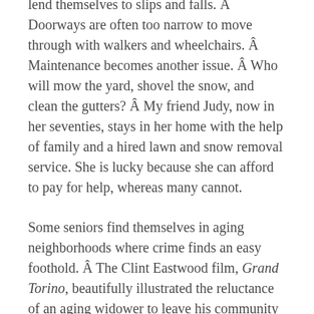lend themselves to slips and falls. Â Doorways are often too narrow to move through with walkers and wheelchairs. Â Maintenance becomes another issue. Â Who will mow the yard, shovel the snow, and clean the gutters? Â My friend Judy, now in her seventies, stays in her home with the help of family and a hired lawn and snow removal service. She is lucky because she can afford to pay for help, whereas many cannot.
Some seniors find themselves in aging neighborhoods where crime finds an easy foothold. Â The Clint Eastwood film, Grand Torino, beautifully illustrated the reluctance of an aging widower to leave his community even though the area was no longer a place where everybody knew each other, and gang activity was rampant. Clint was a strong